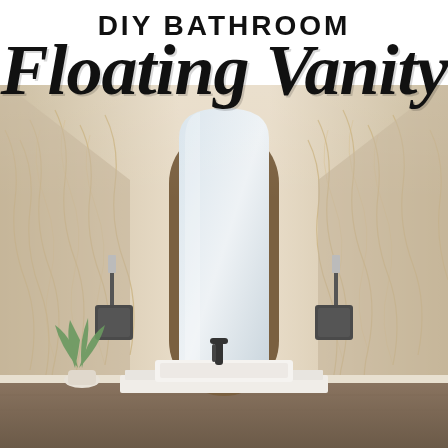DIY BATHROOM Floating Vanity
[Figure (photo): Interior bathroom photo showing a floating vanity with a rectangular white vessel sink, a matte black faucet, a tall arch-framed mirror with wood surround, two wall sconce lights on either side, decorative wallpaper with abstract leaf/branch patterns on both walls, and a small potted green plant on the left side of the vanity.]